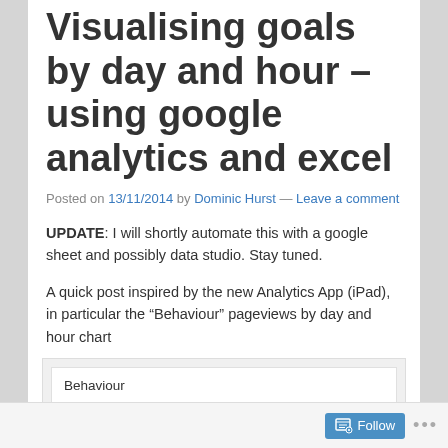Visualising goals by day and hour – using google analytics and excel
Posted on 13/11/2014 by Dominic Hurst — Leave a comment
UPDATE: I will shortly automate this with a google sheet and possibly data studio. Stay tuned.
A quick post inspired by the new Analytics App (iPad), in particular the “Behaviour” pageviews by day and hour chart
[Figure (screenshot): Screenshot of Google Analytics interface showing Behaviour section with Pageviews label]
Follow ...